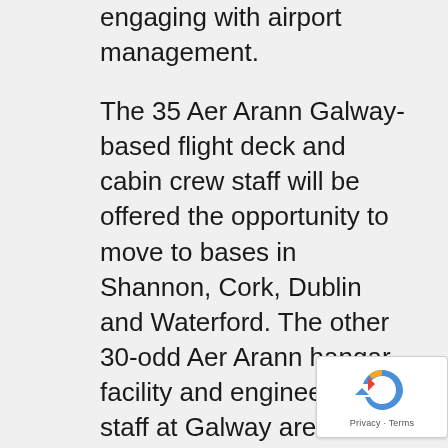engaging with airport management.
The 35 Aer Arann Galway-based flight deck and cabin crew staff will be offered the opportunity to move to bases in Shannon, Cork, Dublin and Waterford. The other 30-odd Aer Arann hangar facility and engineering staff at Galway are not impacted by the decision to suspend services, and they will continue to service its fleet of 13 planes in Carnmore, the company said.
Some airport staff such as air traffic